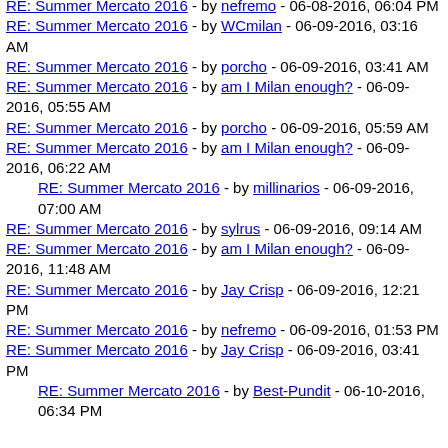RE: Summer Mercato 2016 - by nefremo - 06-08-2016, 06:04 PM
RE: Summer Mercato 2016 - by WCmilan - 06-09-2016, 03:16 AM
RE: Summer Mercato 2016 - by porcho - 06-09-2016, 03:41 AM
RE: Summer Mercato 2016 - by am I Milan enough? - 06-09-2016, 05:55 AM
RE: Summer Mercato 2016 - by porcho - 06-09-2016, 05:59 AM
RE: Summer Mercato 2016 - by am I Milan enough? - 06-09-2016, 06:22 AM
RE: Summer Mercato 2016 - by millinarios - 06-09-2016, 07:00 AM
RE: Summer Mercato 2016 - by sylrus - 06-09-2016, 09:14 AM
RE: Summer Mercato 2016 - by am I Milan enough? - 06-09-2016, 11:48 AM
RE: Summer Mercato 2016 - by Jay Crisp - 06-09-2016, 12:21 PM
RE: Summer Mercato 2016 - by nefremo - 06-09-2016, 01:53 PM
RE: Summer Mercato 2016 - by Jay Crisp - 06-09-2016, 03:41 PM
RE: Summer Mercato 2016 - by Best-Pundit - 06-10-2016, 06:34 PM